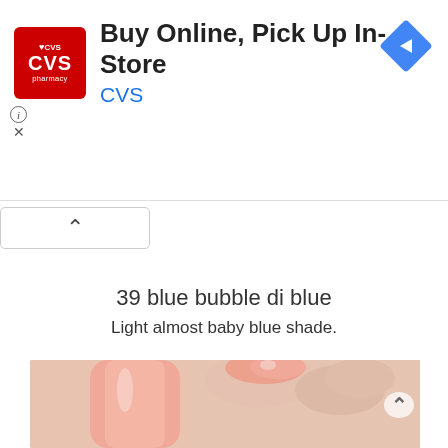[Figure (screenshot): CVS Pharmacy advertisement banner: 'Buy Online, Pick Up In-Store' with CVS logo (red square with heart and CVS text), navigation arrow diamond icon on right, info (i) and X controls on lower left]
39 blue bubble di blue
Light almost baby blue shade.
[Figure (photo): Close-up photo of a pink/peach nail polish bottle being held, showing painted nails in the same coral-peach color]